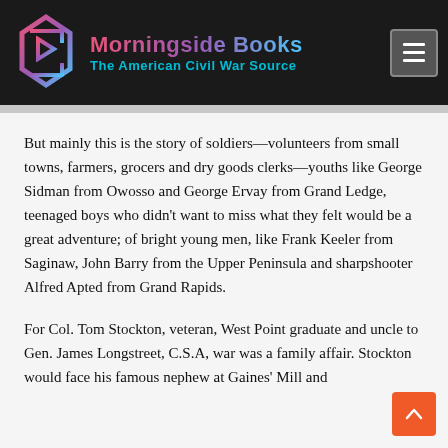Morningside Books — The American Civil War Source
But mainly this is the story of soldiers—volunteers from small towns, farmers, grocers and dry goods clerks—youths like George Sidman from Owosso and George Ervay from Grand Ledge, teenaged boys who didn't want to miss what they felt would be a great adventure; of bright young men, like Frank Keeler from Saginaw, John Barry from the Upper Peninsula and sharpshooter Alfred Apted from Grand Rapids.
For Col. Tom Stockton, veteran, West Point graduate and uncle to Gen. James Longstreet, C.S.A, war was a family affair. Stockton would face his famous nephew at Gaines' Mill and